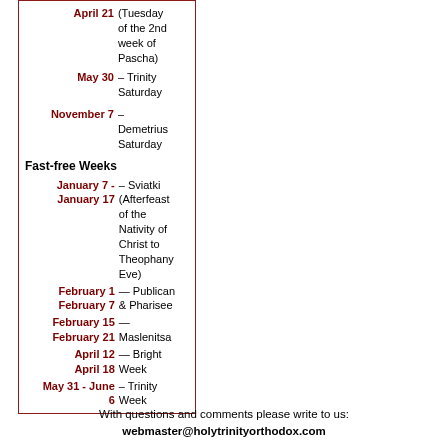| Date | Description |
| --- | --- |
| April 21 | (Tuesday of the 2nd week of Pascha) |
| May 30 | – Trinity Saturday |
| November 7 | – Demetrius Saturday |
Fast-free Weeks
| Date | Description |
| --- | --- |
| January 7 - January 17 | – Sviatki (Afterfeast of the Nativity of Christ to Theophany Eve) |
| February 1 February 7 | — Publican & Pharisee |
| February 15 — February 21 | Maslenitsa |
| April 12 April 18 | — Bright Week |
| May 31 - June 6 | – Trinity Week |
With questions and comments please write to us:
webmaster@holytrinityorthodox.com